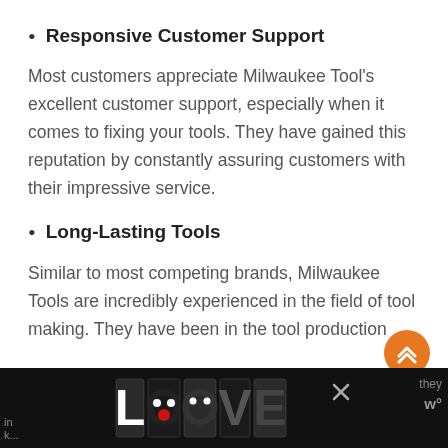Responsive Customer Support
Most customers appreciate Milwaukee Tool's excellent customer support, especially when it comes to fixing your tools. They have gained this reputation by constantly assuring customers with their impressive service.
Long-Lasting Tools
Similar to most competing brands, Milwaukee Tools are incredibly experienced in the field of tool making. They have been in the tool production in...they k...
[Figure (other): LOOVE stylized logo/advertisement banner at the bottom of the page with black background and decorative lettering]
[Figure (other): Scroll-to-top button: orange circle with white double chevron up arrows]